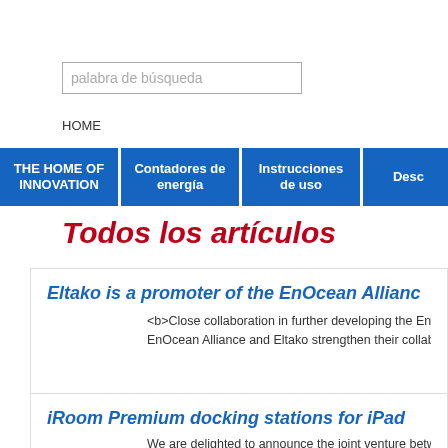palabra de búsqueda
HOME
THE HOME OF INNOVATION
Contadores de energía
Instrucciones de uso
Desc
Todos los artículos
Eltako is a promoter of the EnOcean Allianc
<b>Close collaboration in further developing the EnO... EnOcean Alliance and Eltako strengthen their collabo
iRoom Premium docking stations for iPad
We are delighted to announce the joint venture betw... stations are the perfect addition to the <b>Eltako Sm